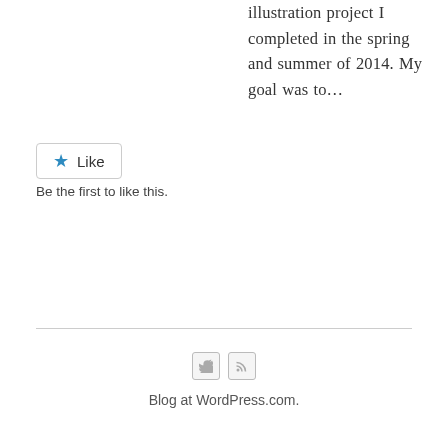illustration project I completed in the spring and summer of 2014. My goal was to…
[Figure (other): Like button widget with blue star icon and 'Like' text, bordered box]
Be the first to like this.
[Figure (other): Two small social media icon boxes: Twitter bird icon and RSS feed icon]
Blog at WordPress.com.